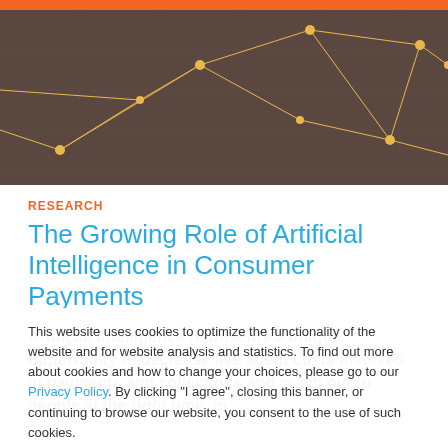[Figure (illustration): Dark brown background with geometric network pattern of gold/yellow lines and nodes connecting across the image]
RESEARCH
The Growing Role of Artificial Intelligence in Consumer Payments
Artificial intelligence represents a unique opportunity to decrease live agent costs involved in payments and collections and reach out to people at the right time, in
This website uses cookies to optimize the functionality of the website and for website analysis and statistics. To find out more about cookies and how to change your choices, please go to our Privacy Policy. By clicking "I agree", closing this banner, or continuing to browse our website, you consent to the use of such cookies.